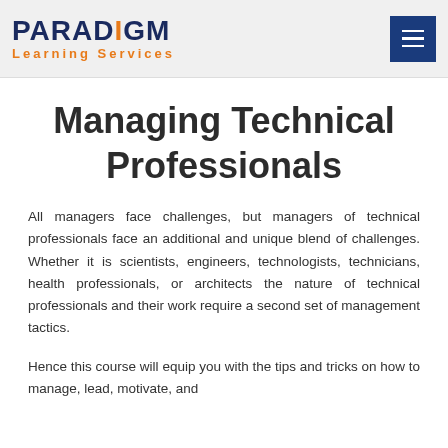PARADIGM Learning Services
Managing Technical Professionals
All managers face challenges, but managers of technical professionals face an additional and unique blend of challenges. Whether it is scientists, engineers, technologists, technicians, health professionals, or architects the nature of technical professionals and their work require a second set of management tactics.
Hence this course will equip you with the tips and tricks on how to manage, lead, motivate, and